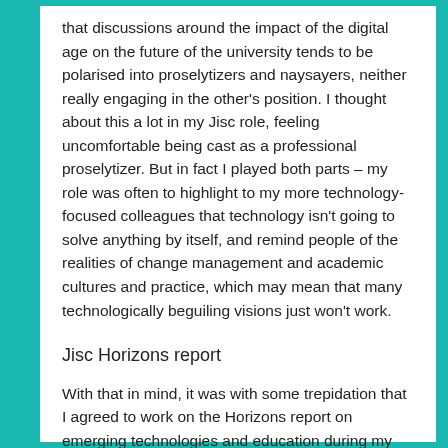that discussions around the impact of the digital age on the future of the university tends to be polarised into proselytizers and naysayers, neither really engaging in the other's position. I thought about this a lot in my Jisc role, feeling uncomfortable being cast as a professional proselytizer. But in fact I played both parts – my role was often to highlight to my more technology-focused colleagues that technology isn't going to solve anything by itself, and remind people of the realities of change management and academic cultures and practice, which may mean that many technologically beguiling visions just won't work.
Jisc Horizons report
With that in mind, it was with some trepidation that I agreed to work on the Horizons report on emerging technologies and education during my last few months